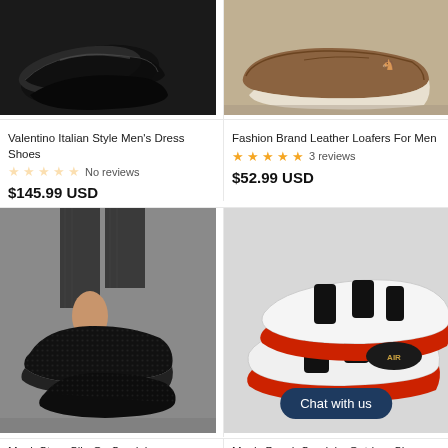[Figure (photo): Black glossy dress shoes photographed from above on dark background]
[Figure (photo): Brown leather slip-on loafers on grey surface]
Valentino Italian Style Men's Dress Shoes
No reviews
$145.99 USD
Fashion Brand Leather Loafers For Men
3 reviews
$52.99 USD
[Figure (photo): Black textured monk strap slip-on sandals worn by person in dress pants]
[Figure (photo): White and red men's beach sandals/outdoor shoes with AIR branding, chat with us button overlay]
Monk Strap Slip-On Sandals
Men's Beach Sandals, Outdoor Shoes